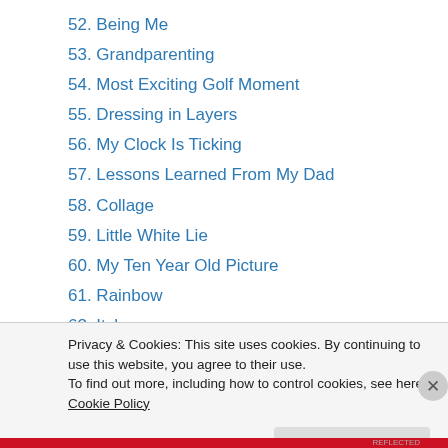52. Being Me
53. Grandparenting
54. Most Exciting Golf Moment
55. Dressing in Layers
56. My Clock Is Ticking
57. Lessons Learned From My Dad
58. Collage
59. Little White Lie
60. My Ten Year Old Picture
61. Rainbow
62. Itch
63. A Dollar Bill in One Day’s Time
64. My God Tree
Privacy & Cookies: This site uses cookies. By continuing to use this website, you agree to their use.
To find out more, including how to control cookies, see here: Cookie Policy
Close and accept